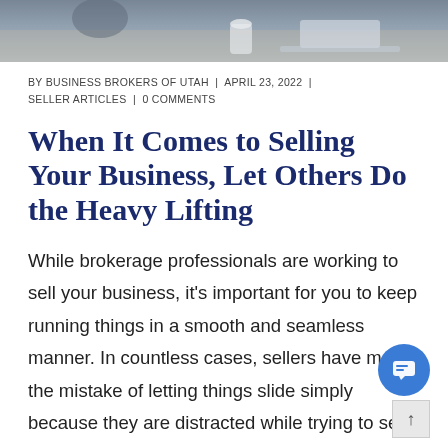[Figure (photo): Cropped photo of people at a desk in an office/business setting, showing lower portion of image]
BY BUSINESS BROKERS OF UTAH | APRIL 23, 2022 | SELLER ARTICLES | 0 COMMENTS
When It Comes to Selling Your Business, Let Others Do the Heavy Lifting
While brokerage professionals are working to sell your business, it's important for you to keep running things in a smooth and seamless manner. In countless cases, sellers have made the mistake of letting things slide simply because they are distracted while trying to sell. You'll want make sure things remain the same, as